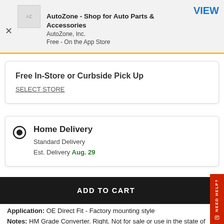AutoZone - Shop for Auto Parts & Accessories
AutoZone, Inc.
Free - On the App Store
Free In-Store or Curbside Pick Up
SELECT STORE
Home Delivery
Standard Delivery
Est. Delivery Aug. 29
ADD TO CART
Application: OE Direct Fit - Factory mounting style
Notes: HM Grade Converter. Right. Not for sale or use in the state of California.